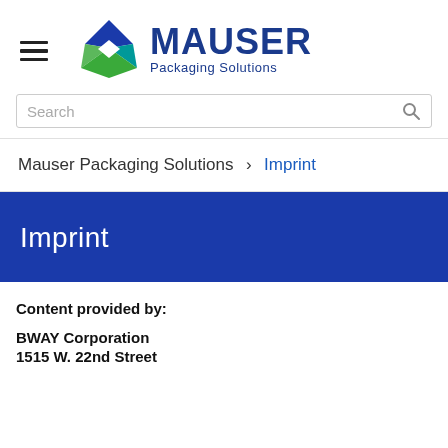[Figure (logo): Mauser Packaging Solutions logo with diamond-shaped icon in blue, green, and teal colors, followed by MAUSER text in dark blue and 'Packaging Solutions' subtitle]
Search
Mauser Packaging Solutions > Imprint
Imprint
Content provided by:
BWAY Corporation
1515 W. 22nd Street